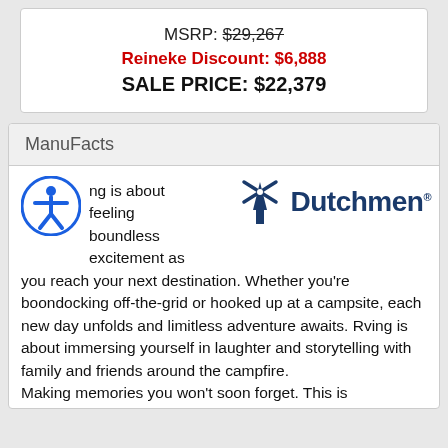MSRP: $29,267
Reineke Discount: $6,888
SALE PRICE: $22,379
ManuFacts
[Figure (logo): Dutchmen RV logo with windmill graphic and bold blue Dutchmen text]
ng is about feeling boundless excitement as you reach your next destination. Whether you're boondocking off-the-grid or hooked up at a campsite, each new day unfolds and limitless adventure awaits. Rving is about immersing yourself in laughter and storytelling with family and friends around the campfire. Making memories you won't soon forget. This is